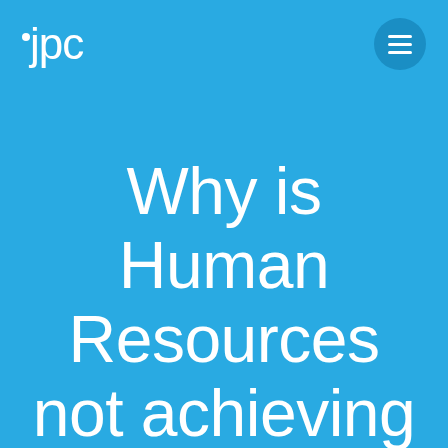ipc
Why is Human Resources not achieving the desired impact?